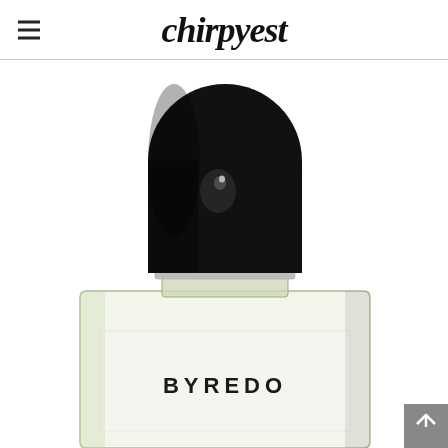chirpyest
[Figure (photo): Close-up product photo of a Byredo perfume bottle with a large black domed cap on top and a clear glass bottle body with a white label reading BYREDO, photographed against a white background.]